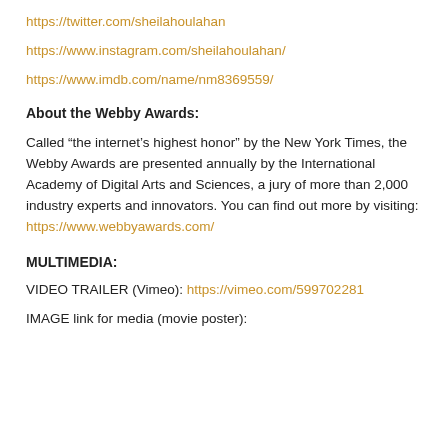https://twitter.com/sheilahoulahan
https://www.instagram.com/sheilahoulahan/
https://www.imdb.com/name/nm8369559/
About the Webby Awards:
Called “the internet’s highest honor” by the New York Times, the Webby Awards are presented annually by the International Academy of Digital Arts and Sciences, a jury of more than 2,000 industry experts and innovators. You can find out more by visiting: https://www.webbyawards.com/
MULTIMEDIA:
VIDEO TRAILER (Vimeo): https://vimeo.com/599702281
IMAGE link for media (movie poster):